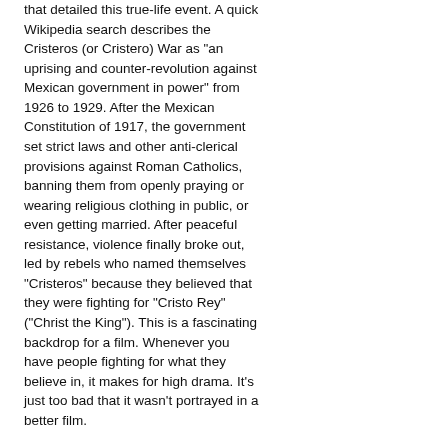that detailed this true-life event. A quick Wikipedia search describes the Cristeros (or Cristero) War as "an uprising and counter-revolution against Mexican government in power" from 1926 to 1929. After the Mexican Constitution of 1917, the government set strict laws and other anti-clerical provisions against Roman Catholics, banning them from openly praying or wearing religious clothing in public, or even getting married. After peaceful resistance, violence finally broke out, led by rebels who named themselves "Cristeros" because they believed that they were fighting for "Cristo Rey" ("Christ the King"). This is a fascinating backdrop for a film. Whenever you have people fighting for what they believe in, it makes for high drama. It's just too bad that it wasn't portrayed in a better film.
There's certainly good intentions going on here. It's important to